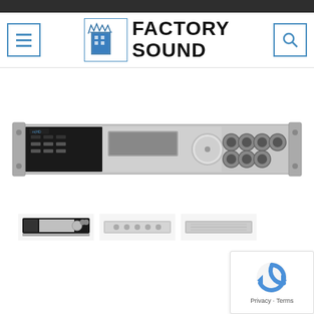[Figure (screenshot): Top dark navigation bar of a website]
[Figure (logo): Factory Sound logo with building icon and text FACTORY SOUND, menu hamburger icon on left, search icon on right]
[Figure (photo): Main product image of a rack-mount audio interface/preamp unit, silver and black, 1U rack unit with display, knob and multiple XLR connectors]
[Figure (photo): Three thumbnail images of the same rack-mount audio device from different angles]
[Figure (other): Google reCAPTCHA badge with Privacy and Terms text]